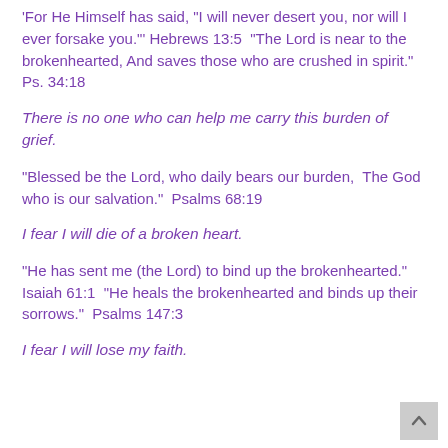'For He Himself has said, "I will never desert you, nor will I ever forsake you."' Hebrews 13:5  "The Lord is near to the brokenhearted, And saves those who are crushed in spirit." Ps. 34:18
There is no one who can help me carry this burden of grief.
"Blessed be the Lord, who daily bears our burden,  The God who is our salvation."  Psalms 68:19
I fear I will die of a broken heart.
"He has sent me (the Lord) to bind up the brokenhearted." Isaiah 61:1  "He heals the brokenhearted and binds up their sorrows."  Psalms 147:3
I fear I will lose my faith.